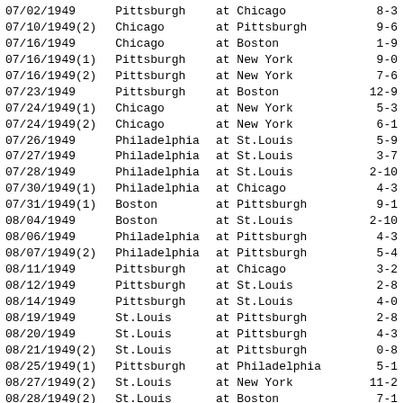| Date | Team | Location | Score |
| --- | --- | --- | --- |
| 07/02/1949 | Pittsburgh | at Chicago | 8-3 |
| 07/10/1949(2) | Chicago | at Pittsburgh | 9-6 |
| 07/16/1949 | Chicago | at Boston | 1-9 |
| 07/16/1949(1) | Pittsburgh | at New York | 9-0 |
| 07/16/1949(2) | Pittsburgh | at New York | 7-6 |
| 07/23/1949 | Pittsburgh | at Boston | 12-9 |
| 07/24/1949(1) | Chicago | at New York | 5-3 |
| 07/24/1949(2) | Chicago | at New York | 6-1 |
| 07/26/1949 | Philadelphia | at St.Louis | 5-9 |
| 07/27/1949 | Philadelphia | at St.Louis | 3-7 |
| 07/28/1949 | Philadelphia | at St.Louis | 2-10 |
| 07/30/1949(1) | Philadelphia | at Chicago | 4-3 |
| 07/31/1949(1) | Boston | at Pittsburgh | 9-1 |
| 08/04/1949 | Boston | at St.Louis | 2-10 |
| 08/06/1949 | Philadelphia | at Pittsburgh | 4-3 |
| 08/07/1949(2) | Philadelphia | at Pittsburgh | 5-4 |
| 08/11/1949 | Pittsburgh | at Chicago | 3-2 |
| 08/12/1949 | Pittsburgh | at St.Louis | 2-8 |
| 08/14/1949 | Pittsburgh | at St.Louis | 4-0 |
| 08/19/1949 | St.Louis | at Pittsburgh | 2-8 |
| 08/20/1949 | St.Louis | at Pittsburgh | 4-3 |
| 08/21/1949(2) | St.Louis | at Pittsburgh | 0-8 |
| 08/25/1949(1) | Pittsburgh | at Philadelphia | 5-1 |
| 08/27/1949(2) | St.Louis | at New York | 11-2 |
| 08/28/1949(2) | St.Louis | at Boston | 7-1 |
| 08/29/1949 | Chicago | at Philadelphia | 5-6 |
| 09/06/1949(2) | Philadelphia | at New York | 1-4 |
| 09/10/1949 | Chicago | at Pittsburgh | 9-5 |
| 09/11/1949 | Chicago | at Pittsburgh | 3-7 |
| 09/11/1949(2) | Philadelphia | at Boston | 6-3 |